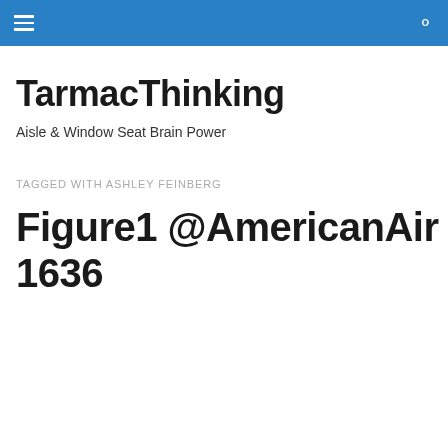TarmacThinking — navigation header with hamburger menu and search icon
TarmacThinking
Aisle & Window Seat Brain Power
TAGGED WITH ASHLEY FEINBERG
Figure1 @AmericanAir 1636